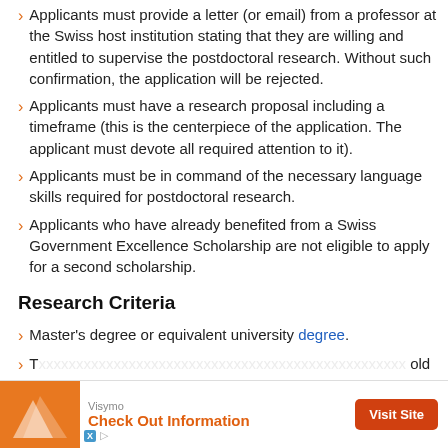Applicants must provide a letter (or email) from a professor at the Swiss host institution stating that they are willing and entitled to supervise the postdoctoral research. Without such confirmation, the application will be rejected.
Applicants must have a research proposal including a timeframe (this is the centerpiece of the application. The applicant must devote all required attention to it).
Applicants must be in command of the necessary language skills required for postdoctoral research.
Applicants who have already benefited from a Swiss Government Excellence Scholarship are not eligible to apply for a second scholarship.
Research Criteria
Master's degree or equivalent university degree.
T… old at t…